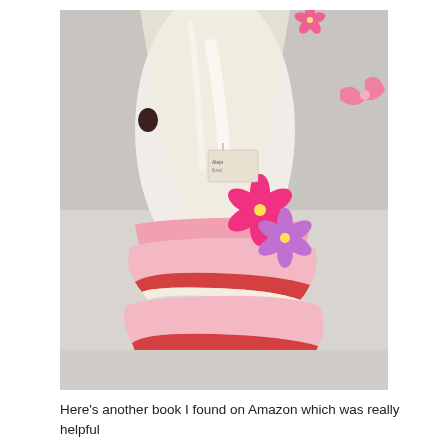[Figure (photo): A pink layered ruffled dress displayed on a mannequin, shown in close-up. The dress features tiered pink satin ruffles with red/coral trim at the bottom, a transparent/clear plastic upper bodice section, and pink and purple fabric flower decorations at the waist. The dress appears to be packaged or displayed in a retail setting.]
Here's another book I found on Amazon which was really helpful